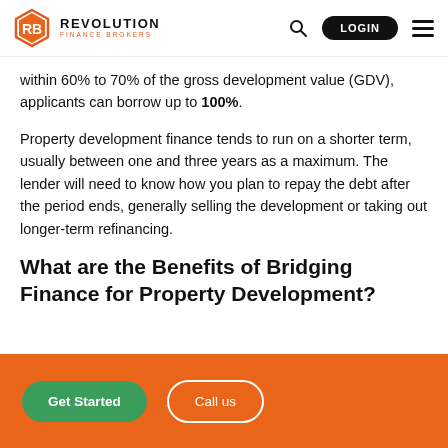REVOLUTION FINANCE BROKERS — navigation header with logo, search, login, and menu
within 60% to 70% of the gross development value (GDV), applicants can borrow up to 100%.
Property development finance tends to run on a shorter term, usually between one and three years as a maximum. The lender will need to know how you plan to repay the debt after the period ends, generally selling the development or taking out longer-term refinancing.
What are the Benefits of Bridging Finance for Property Development?
[Figure (other): Orange CTA banner with 'Get Started' green button and 'Call us' white outline button]